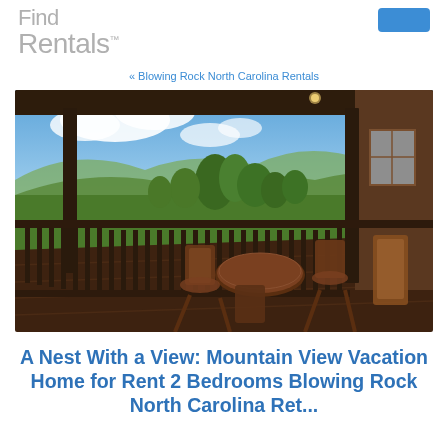Find Rentals™
« Blowing Rock North Carolina Rentals
[Figure (photo): Deck/porch of a mountain vacation home with wooden railing, outdoor table and chairs, overlooking lush green mountain landscape with trees and blue sky with clouds in Blowing Rock, North Carolina]
A Nest With a View: Mountain View Vacation Home for Rent 2 Bedrooms Blowing Rock North Carolina Ret...